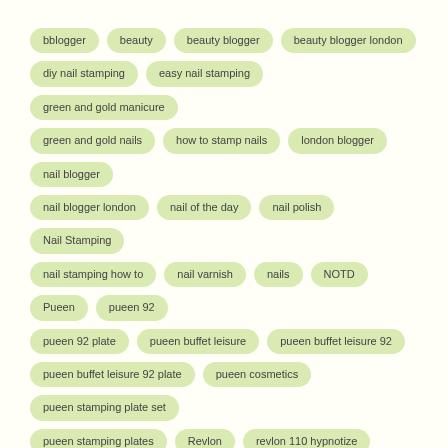bblogger
beauty
beauty blogger
beauty blogger london
diy nail stamping
easy nail stamping
green and gold manicure
green and gold nails
how to stamp nails
london blogger
nail blogger
nail blogger london
nail of the day
nail polish
Nail Stamping
nail stamping how to
nail varnish
nails
NOTD
Pueen
pueen 92
pueen 92 plate
pueen buffet leisure
pueen buffet leisure 92
pueen buffet leisure 92 plate
pueen cosmetics
pueen stamping plate set
pueen stamping plates
Revlon
revlon 110 hypnotize
revlon brilliant strength
revlon brilliant strength 110 hypnotize
revlon brilliant strength hypnotize
revlon cosmetics
revlon hypnotize
revlon nail polish
Rimmel
rimmel 557 yes sir
rimmel cosmetics